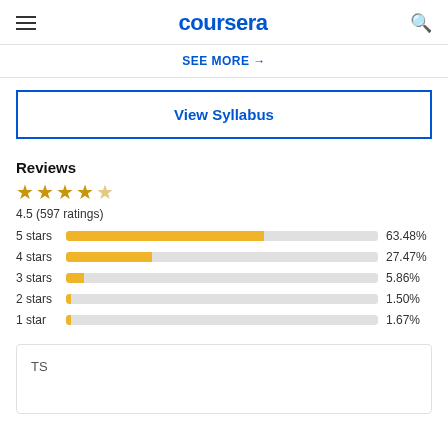coursera
SEE MORE →
View Syllabus
Reviews
[Figure (bar-chart): Reviews rating distribution]
4.5 (597 ratings)
TS